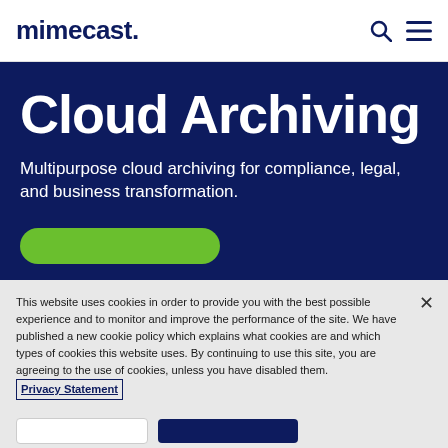[Figure (logo): Mimecast logo in dark navy blue text with search and hamburger menu icons on the right]
Cloud Archiving
Multipurpose cloud archiving for compliance, legal, and business transformation.
[Figure (other): Green rounded rectangle button (partially visible)]
This website uses cookies in order to provide you with the best possible experience and to monitor and improve the performance of the site. We have published a new cookie policy which explains what cookies are and which types of cookies this website uses. By continuing to use this site, you are agreeing to the use of cookies, unless you have disabled them. Privacy Statement
[Figure (other): Bottom row with white button and navy button partially visible]